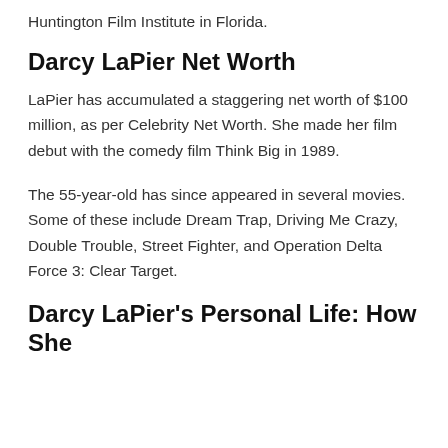Huntington Film Institute in Florida.
Darcy LaPier Net Worth
LaPier has accumulated a staggering net worth of $100 million, as per Celebrity Net Worth. She made her film debut with the comedy film Think Big in 1989.
The 55-year-old has since appeared in several movies. Some of these include Dream Trap, Driving Me Crazy, Double Trouble, Street Fighter, and Operation Delta Force 3: Clear Target.
Darcy LaPier's Personal Life: How She